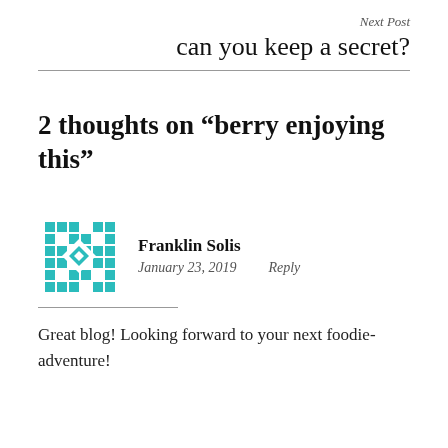Next Post
can you keep a secret?
2 thoughts on “berry enjoying this”
[Figure (illustration): Teal/turquoise pixel-art style avatar icon with geometric diamond pattern]
Franklin Solis
January 23, 2019    Reply
Great blog! Looking forward to your next foodie-adventure!